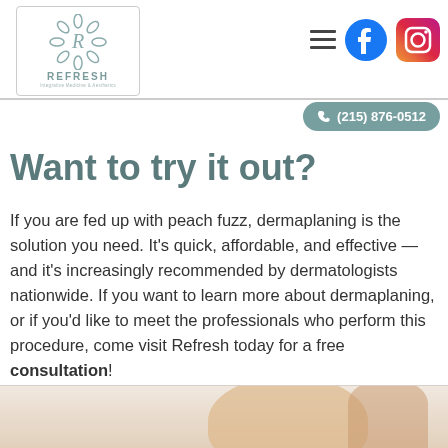REFRESH Integrative Medicine & Aesthetics — (215) 876-0512
Want to try it out?
If you are fed up with peach fuzz, dermaplaning is the solution you need. It's quick, affordable, and effective — and it's increasingly recommended by dermatologists nationwide. If you want to learn more about dermaplaning, or if you'd like to meet the professionals who perform this procedure, come visit Refresh today for a free consultation!
[Figure (photo): Close-up photo of a person's face/nose shown at the bottom of the page]